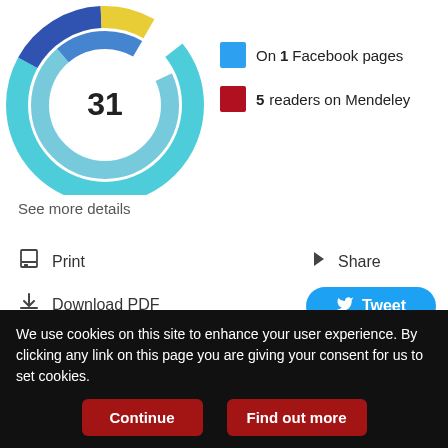[Figure (donut-chart): Altmetric score 31]
On 1 Facebook pages
5 readers on Mendeley
See more details
Print
Download PDF
Article Alerts
Email Article
Citation Tools
Share
Tweet
Like 0
Related Articles
We use cookies on this site to enhance your user experience. By clicking any link on this page you are giving your consent for us to set cookies.
Continue
Find out more